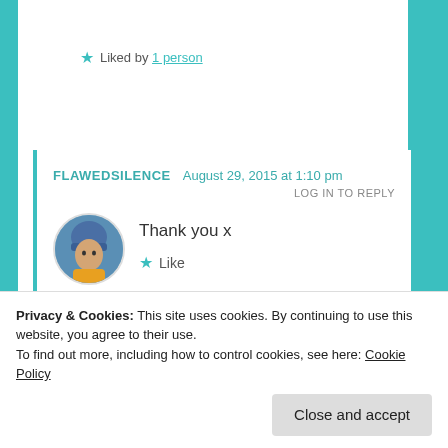★ Liked by 1 person
FLAWEDSILENCE  August 29, 2015 at 1:10 pm
LOG IN TO REPLY
Thank you x
★ Like
[Figure (other): Advertisement banner with pink 'Start a survey' button and CrowdSignal logo on dark background]
Privacy & Cookies: This site uses cookies. By continuing to use this website, you agree to their use.
To find out more, including how to control cookies, see here: Cookie Policy
Close and accept